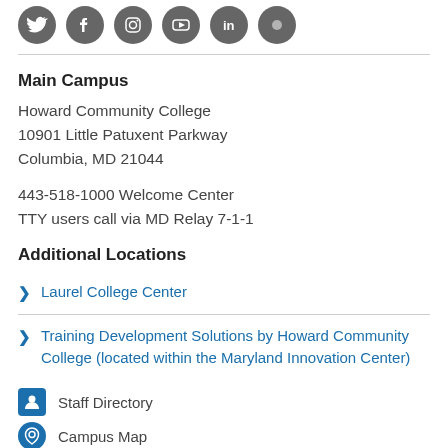[Figure (illustration): Row of social media icons (Twitter, Facebook, Instagram, YouTube, LinkedIn, and one more) as dark gray circles]
Main Campus
Howard Community College
10901 Little Patuxent Parkway
Columbia, MD 21044
443-518-1000 Welcome Center
TTY users call via MD Relay 7-1-1
Additional Locations
Laurel College Center
Training Development Solutions by Howard Community College (located within the Maryland Innovation Center)
Staff Directory
Campus Map